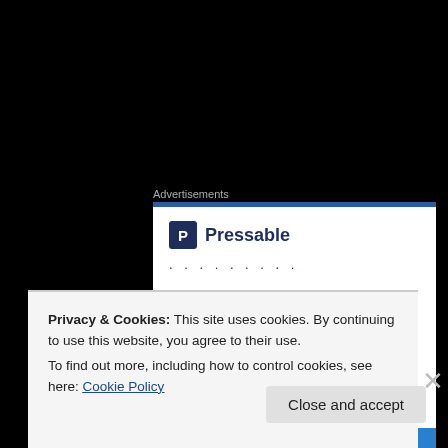Advertisements
[Figure (screenshot): Pressable advertisement banner with logo, dots, and tagline 'The Platform' on white background with blue top border]
It was nice to get a little action before having to head to work for the evening.
— — —
Privacy & Cookies: This site uses cookies. By continuing to use this website, you agree to their use.
To find out more, including how to control cookies, see here: Cookie Policy
Close and accept